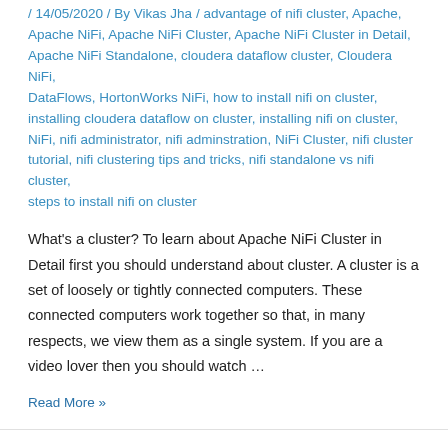/ 14/05/2020 / By Vikas Jha / advantage of nifi cluster, Apache, Apache NiFi, Apache NiFi Cluster, Apache NiFi Cluster in Detail, Apache NiFi Standalone, cloudera dataflow cluster, Cloudera NiFi, DataFlows, HortonWorks NiFi, how to install nifi on cluster, installing cloudera dataflow on cluster, installing nifi on cluster, NiFi, nifi administrator, nifi adminstration, NiFi Cluster, nifi cluster tutorial, nifi clustering tips and tricks, nifi standalone vs nifi cluster, steps to install nifi on cluster
What's a cluster? To learn about Apache NiFi Cluster in Detail first you should understand about cluster. A cluster is a set of loosely or tightly connected computers. These connected computers work together so that, in many respects, we view them as a single system. If you are a video lover then you should watch …
Read More »
Splitting Large Files to Smaller Files using NiFi